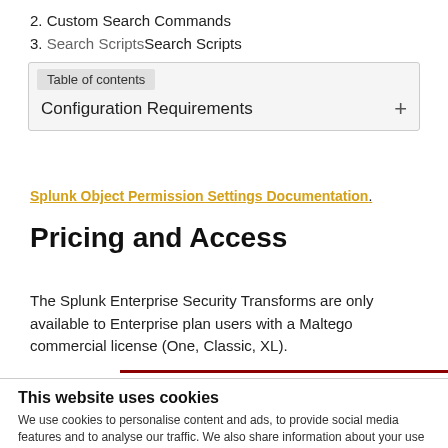2. Custom Search Commands
3. Search Scripts
Table of contents
Configuration Requirements  +
Splunk Object Permission Settings Documentation.
Pricing and Access
The Splunk Enterprise Security Transforms are only available to Enterprise plan users with a Maltego commercial license (One, Classic, XL).
This website uses cookies
We use cookies to personalise content and ads, to provide social media features and to analyse our traffic. We also share information about your use of our site with our social media, advertising and analytics partners who may combine it with other information that you've provided to them or that they've collected from your use of their services.
Accept
Necessary  Preferences  Statistics  Marketing  Settings